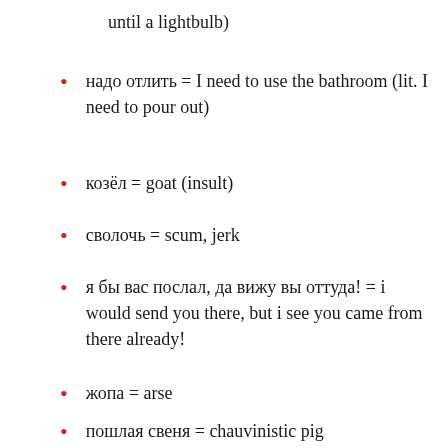until a lightbulb)
надо отлить = I need to use the bathroom (lit. I need to pour out)
козёл = goat (insult)
сволочь = scum, jerk
я бы вас послал, да вижу вы оттуда! = i would send you there, but i see you came from there already!
жопа = arse
пошлая свеня = chauvinistic pig